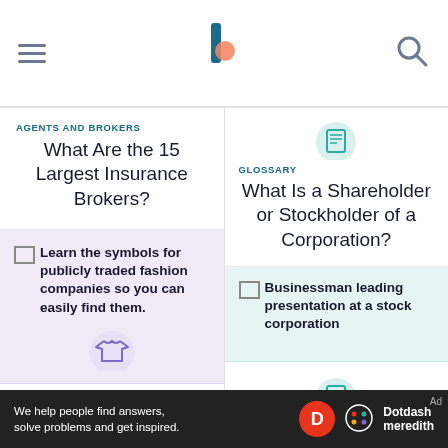Investopedia navigation header with hamburger menu, logo, and search icon
AGENTS AND BROKERS
What Are the 15 Largest Insurance Brokers?
[Figure (photo): Learn the symbols for publicly traded fashion companies so you can easily find them. Purple card with clothing icon.]
LARGEST U.S. RETAILERS
A List of Exchange Symbols for Publicly-Traded U.S.
[Figure (illustration): Document/scroll icon in teal circle at top of right column]
GLOSSARY
What Is a Shareholder or Stockholder of a Corporation?
[Figure (photo): Businessman leading presentation at a stock corporation]
[Figure (illustration): Percentage document icon in teal circle]
GLOSSARY
What Are Stock
We help people find answers, solve problems and get inspired. Dotdash Meredith